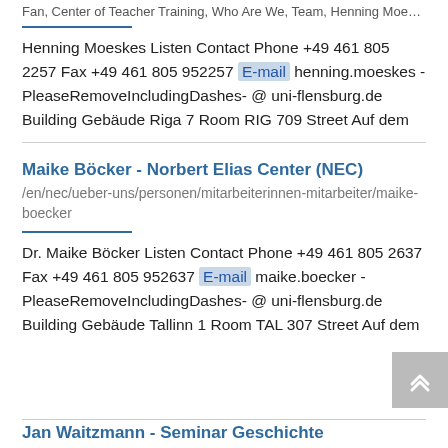Fan, Center of Teacher Training, Who Are We, Team, Henning Moeskes
Henning Moeskes Listen Contact Phone +49 461 805 2257 Fax +49 461 805 952257 E-mail henning.moeskes - PleaseRemoveIncludingDashes- @ uni-flensburg.de Building Gebäude Riga 7 Room RIG 709 Street Auf dem
Maike Böcker - Norbert Elias Center (NEC)
/en/nec/ueber-uns/personen/mitarbeiterinnen-mitarbeiter/maike-boecker
Dr. Maike Böcker Listen Contact Phone +49 461 805 2637 Fax +49 461 805 952637 E-mail maike.boecker - PleaseRemoveIncludingDashes- @ uni-flensburg.de Building Gebäude Tallinn 1 Room TAL 307 Street Auf dem
Jan Waitzmann - Seminar Geschichte